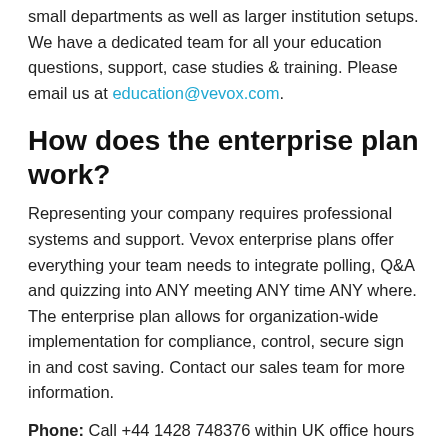small departments as well as larger institution setups. We have a dedicated team for all your education questions, support, case studies & training. Please email us at education@vevox.com.
How does the enterprise plan work?
Representing your company requires professional systems and support. Vevox enterprise plans offer everything your team needs to integrate polling, Q&A and quizzing into ANY meeting ANY time ANY where. The enterprise plan allows for organization-wide implementation for compliance, control, secure sign in and cost saving. Contact our sales team for more information.
Phone: Call +44 1428 748376 within UK office hours 9am-5pm GMT Monday to Friday
Email: email support@vevox.com and a support agent will be in contact with you.